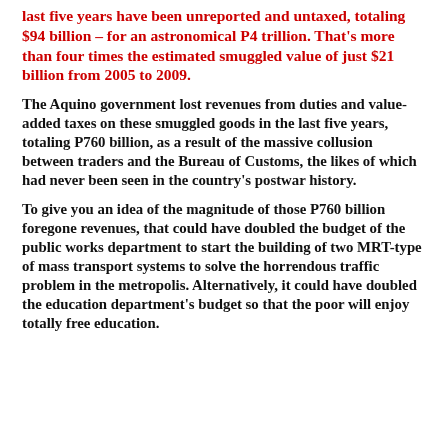last five years have been unreported and untaxed, totaling $94 billion – for an astronomical P4 trillion. That's more than four times the estimated smuggled value of just $21 billion from 2005 to 2009.
The Aquino government lost revenues from duties and value-added taxes on these smuggled goods in the last five years, totaling P760 billion, as a result of the massive collusion between traders and the Bureau of Customs, the likes of which had never been seen in the country's postwar history.
To give you an idea of the magnitude of those P760 billion foregone revenues, that could have doubled the budget of the public works department to start the building of two MRT-type of mass transport systems to solve the horrendous traffic problem in the metropolis. Alternatively, it could have doubled the education department's budget so that the poor will enjoy totally free education.